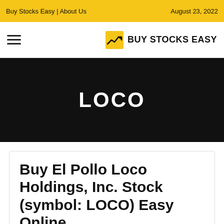Buy Stocks Easy | About Us    August 23, 2022
[Figure (logo): Buy Stocks Easy logo with navigation bar including hamburger menu and logo icon with text BUY STOCKS EASY]
LOCO
Buy El Pollo Loco Holdings, Inc. Stock (symbol: LOCO) Easy Online